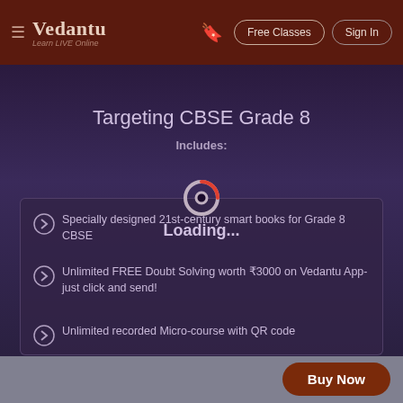Vedantu — Learn LIVE Online | Free Classes | Sign In
Targeting CBSE Grade 8
Includes:
[Figure (screenshot): Loading spinner overlay with red/orange ring and 'Loading...' text centered over the card content]
Specially designed 21st-century smart books for Grade 8 CBSE
Unlimited FREE Doubt Solving worth ₹3000 on Vedantu App- just click and send!
Unlimited recorded Micro-course with QR code